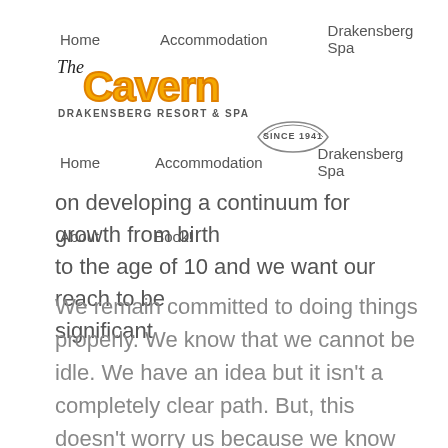Home   Accommodation   Drakensberg Spa
[Figure (logo): The Cavern Drakensberg Resort & Spa logo with 'Since 1941' badge]
on developing a continuum for growth from birth to the age of 10 and we want our reach to be significant
Home   Accommodation   Drakensberg Spa
About   Book!
We remain committed to doing things properly. We know that we cannot be idle. We have an idea but it isn't a completely clear path. But, this doesn't worry us because we know that as we begin to travel, the route will become clear. This attitude stems from following our fathers, Peter & Ant, bundu-bashing through the veld, with absolutely no idea where we were heading, but always